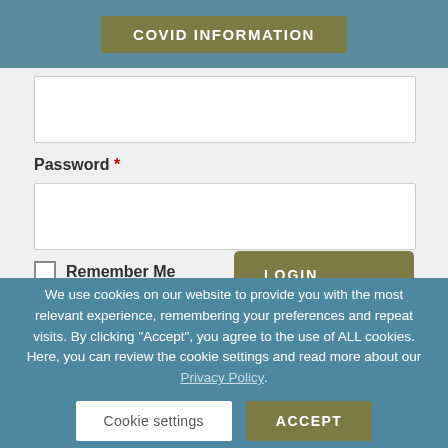COVID INFORMATION
Password *
Remember Me
LOGIN
Lost your password?
We use cookies on our website to provide you with the most relevant experience, remembering your preferences and repeat visits. By clicking "Accept", you agree to the use of ALL cookies. Here, you can review the cookie settings and read more about our Privacy Policy.
Cookie settings
ACCEPT